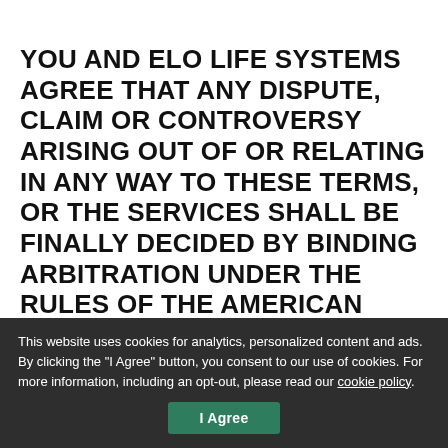YOU AND ELO LIFE SYSTEMS AGREE THAT ANY DISPUTE, CLAIM OR CONTROVERSY ARISING OUT OF OR RELATING IN ANY WAY TO THESE TERMS, OR THE SERVICES SHALL BE FINALLY DECIDED BY BINDING ARBITRATION UNDER THE RULES OF THE AMERICAN ARBITRATION ASSOCIATION GOVERNING CONSUMER DISPUTES. Arbitration uses a single, neutral arbitrator to decide a dispute (instead of a judge or jury); arbitration allows for more
This website uses cookies for analytics, personalized content and ads. By clicking the "I Agree" button, you consent to our use of cookies. For more information, including an opt-out, please read our cookie policy.